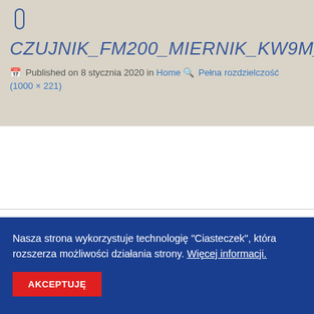CZUJNIK_FM200_MIERNIK_KW9M_1
Published on 8 stycznia 2020 in Home Pełna rozdzielczość (1000 × 221)
[Figure (screenshot): Partial view of a document or image with an orange squiggle/logo element visible at the right edge]
Nasza strona wykorzystuje technologię "Ciasteczek", która rozszerza możliwości działania strony. Więcej informacji.
AKCEPTUJĘ